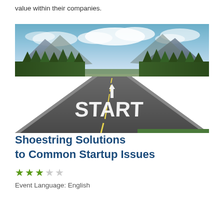value within their companies.
[Figure (photo): A road with 'START' painted on it in large white letters with an upward arrow, flanked by pine trees and mountains under a cloudy sky.]
Recorded Webinar
Shoestring Solutions to Common Startup Issues
★★★☆☆
Event Language: English